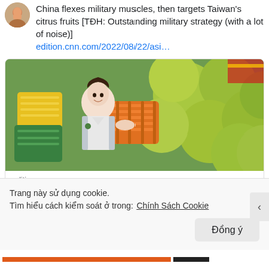China flexes military muscles, then targets Taiwan's citrus fruits [TĐH: Outstanding military strategy (with a lot of noise)]
edition.cnn.com/2022/08/22/asi…
[Figure (photo): Photo of a woman in a white polo shirt smiling, standing next to orange crates and large green citrus fruits (pomelos) at a market stall.]
edition.cnn.com
China flexes military muscles, then targets Taiwan's citrus fruits
Trang này sử dụng cookie.
Tìm hiểu cách kiểm soát ở trong: Chính Sách Cookie
Đồng ý